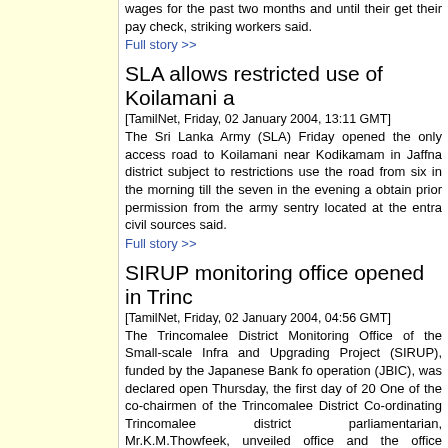wages for the past two months and until their get their pay check, striking workers said.
Full story >>
SLA allows restricted use of Koilamani a
[TamilNet, Friday, 02 January 2004, 13:11 GMT]
The Sri Lanka Army (SLA) Friday opened the only access road to Koilamani near Kodikamam in Jaffna district subject to restrictions use the road from six in the morning till the seven in the evening obtain prior permission from the army sentry located at the entr civil sources said.
Full story >>
SIRUP monitoring office opened in Trinc
[TamilNet, Friday, 02 January 2004, 04:56 GMT]
The Trincomalee District Monitoring Office of the Small-scale Infr and Upgrading Project (SIRUP), funded by the Japanese Bank fo operation (JBIC), was declared open Thursday, the first day of 20 One of the co-chairmen of the Trincomalee District Co-ordinating Trincomalee district parliamentarian, Mr.K.M.Thowfeek, unveiled office and the office building by cutting the ribbon.
Full story >>
Gazette notification accommodates CTT
[TamilNet, Thursday, 01 January 2004, 16:33 GMT]
Sri Lanka's Ministry of Education agreed to issue an amended ga accommodating some of the demands made by the Ceylon Tamil regarding the recruitment of 1000 GCE (Advanced Level) qualifie to northeast Tamil medium schools in the eight districts of the pro secretary Mr.T.Mahasivam said Thursday.
Full story >>
UGC blamed for discrimination in Unive
[TamilNet, Thursday, 01 January 2004, 15:00 GMT]